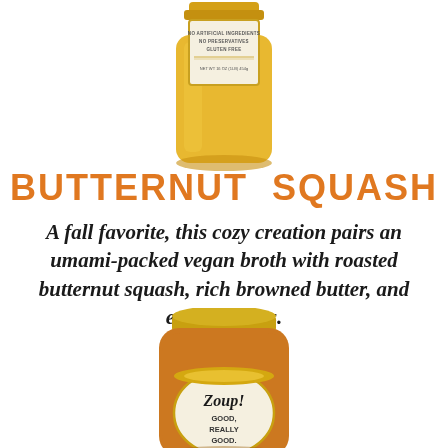[Figure (photo): Yellow/golden jar of butternut squash soup (tall jar) with white label showing no artificial ingredients, no preservatives, gluten-free, net wt 16 oz]
BUTTERNUT SQUASH
A fall favorite, this cozy creation pairs an umami-packed vegan broth with roasted butternut squash, rich browned butter, and earthy spices.
[Figure (photo): Short squat glass jar of butternut squash soup showing orange/amber colored soup with gold lid, Zoup! Good Really Good label visible]